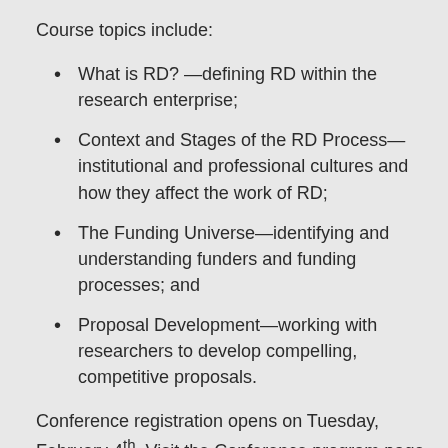Course topics include:
What is RD? —defining RD within the research enterprise;
Context and Stages of the RD Process—institutional and professional cultures and how they affect the work of RD;
The Funding Universe—identifying and understanding funders and funding processes; and
Proposal Development—working with researchers to develop compelling, competitive proposals.
Conference registration opens on Tuesday, February 4th. Visit the Conference program page